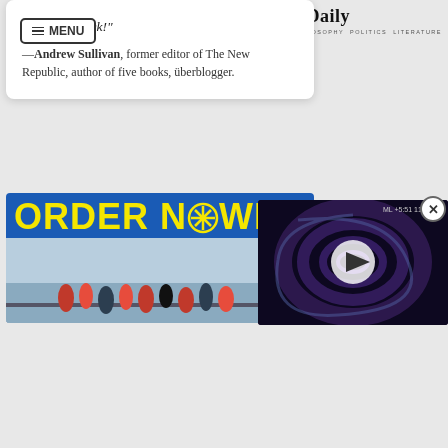3 Quarks Daily — SCIENCE ARTS PHILOSOPHY POLITICS LITERATURE
"You guys rock!"
—Andrew Sullivan, former editor of The New Republic, author of five books, überblogger.
[Figure (photo): Blue advertisement banner with yellow text reading ORDER NOW! and a photo of people walking/marching outdoors near water]
[Figure (screenshot): Video player overlay showing a swirling dark image, with a play button in the center and a close (X) button in the upper right corner]